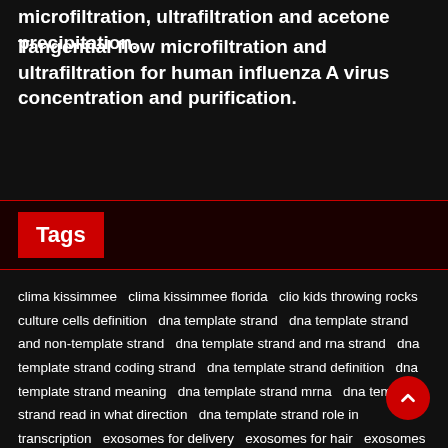microfiltration, ultrafiltration and acetone precipitation.
Tangential flow microfiltration and ultrafiltration for human influenza A virus concentration and purification.
Tags
clima kissimmee  clima kissimmee florida  clio kids throwing rocks  culture cells definition  dna template strand  dna template strand and non-template strand  dna template strand and rna strand  dna template strand coding strand  dna template strand definition  dna template strand meaning  dna template strand mrna  dna template strand read in what direction  dna template strand role in transcription  exosomes for delivery  exosomes for hair  exosomes for hair loss  exosomes msc  exosomes nj  exosomes tem  exosomes therapy  exosomes treatment  gelsemium  gelsemium homeopathic  gels iga  a st henry ohio  gels kitchen  isotopes of xenon  isotopes of ytterbium  isotopes that